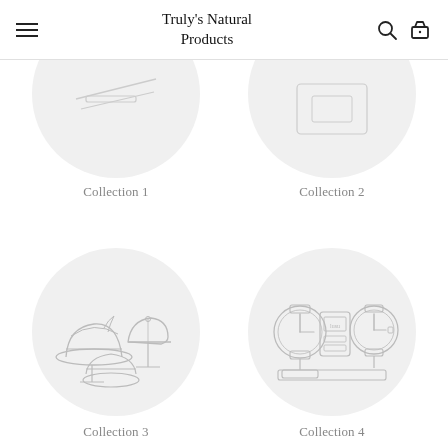Truly's Natural Products
Collection 1
Collection 2
[Figure (illustration): Circle with hats illustration - fedora hat, baseball cap, and bucket hat items on display stands]
Collection 3
[Figure (illustration): Circle with watches illustration - analog clock faces and watch displays on a stand]
Collection 4